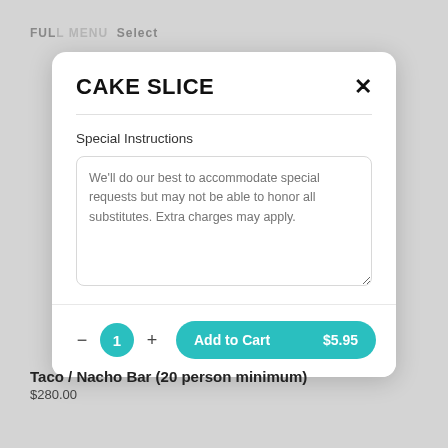FULL MENU  Select
CAKE SLICE
Special Instructions
We'll do our best to accommodate special requests but may not be able to honor all substitutes. Extra charges may apply.
1  Add to Cart  $5.95
Taco / Nacho Bar (20 person minimum)
$280.00